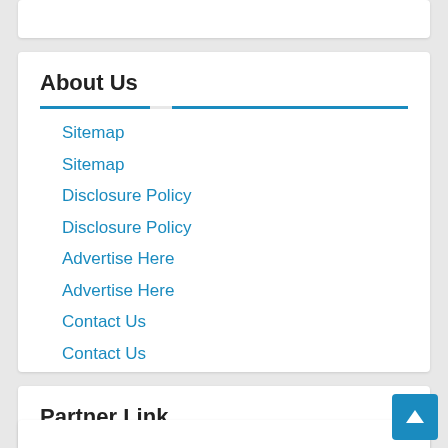About Us
Sitemap
Sitemap
Disclosure Policy
Disclosure Policy
Advertise Here
Advertise Here
Contact Us
Contact Us
Partner Link